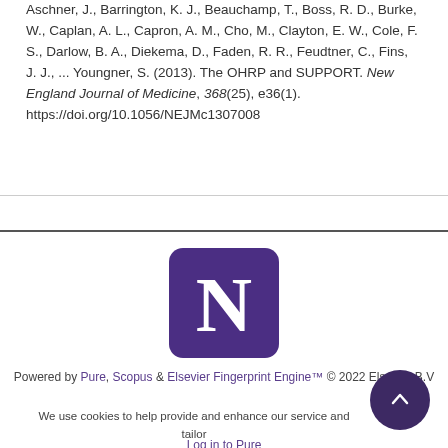Aschner, J., Barrington, K. J., Beauchamp, T., Boss, R. D., Burke, W., Caplan, A. L., Capron, A. M., Cho, M., Clayton, E. W., Cole, F. S., Darlow, B. A., Diekema, D., Faden, R. R., Feudtner, C., Fins, J. J., ... Youngner, S. (2013). The OHRP and SUPPORT. New England Journal of Medicine, 368(25), e36(1). https://doi.org/10.1056/NEJMc1307008
[Figure (logo): Northwestern University 'N' logo — dark purple rounded square with white serif N]
Powered by Pure, Scopus & Elsevier Fingerprint Engine™ © 2022 Elsevier B.V
We use cookies to help provide and enhance our service and tailor content. By continuing you agree to the use of cookies
Log in to Pure